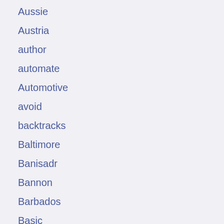Aussie
Austria
author
automate
Automotive
avoid
backtracks
Baltimore
Banisadr
Bannon
Barbados
Basic
Basketball